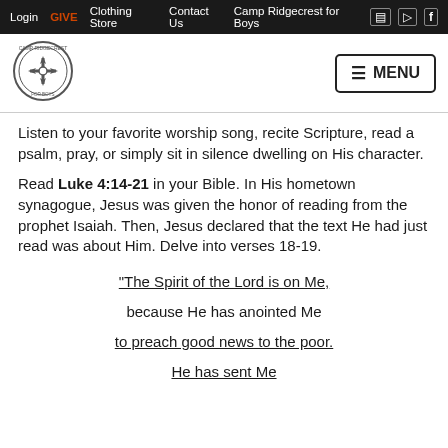Login  GIVE  Clothing Store  Contact Us  Camp Ridgecrest for Boys
[Figure (logo): Camp Ridgecrest circular logo with compass/cross symbol]
Listen to your favorite worship song, recite Scripture, read a psalm, pray, or simply sit in silence dwelling on His character.
Read Luke 4:14-21 in your Bible. In His hometown synagogue, Jesus was given the honor of reading from the prophet Isaiah. Then, Jesus declared that the text He had just read was about Him. Delve into verses 18-19.
“The Spirit of the Lord is on Me,
because He has anointed Me
to preach good news to the poor.
He has sent Me